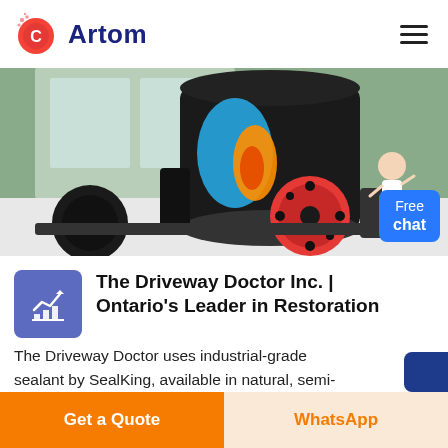Artom
[Figure (photo): Industrial machine with red wheel and orange/blue flame graphic in a showroom setting. Free chat button with assistant figure overlay in bottom right.]
The Driveway Doctor Inc. | Ontario's Leader in Restoration
The Driveway Doctor uses industrial-grade sealant by SealKing, available in natural, semi-
Get a Quote
WhatsApp